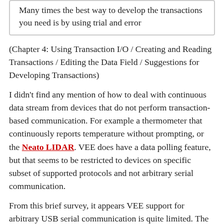Many times the best way to develop the transactions you need is by using trial and error
(Chapter 4: Using Transaction I/O / Creating and Reading Transactions / Editing the Data Field / Suggestions for Developing Transactions)
I didn't find any mention of how to deal with continuous data stream from devices that do not perform transaction-based communication. For example a thermometer that continuously reports temperature without prompting, or the Neato LIDAR. VEE does have a data polling feature, but that seems to be restricted to devices on specific subset of supported protocols and not arbitrary serial communication.
From this brief survey, it appears VEE support for arbitrary USB serial communication is quite limited. The next step is to look at how VEE support displaying objects.